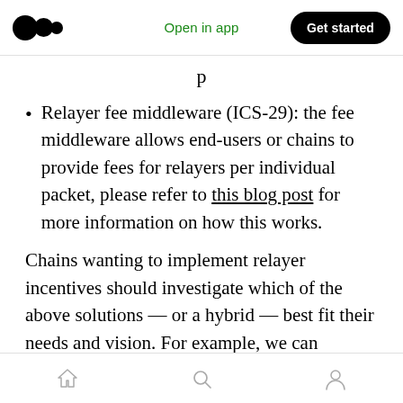Medium app header — Open in app | Get started
Relayer fee middleware (ICS-29): the fee middleware allows end-users or chains to provide fees for relayers per individual packet, please refer to this blog post for more information on how this works.
Chains wanting to implement relayer incentives should investigate which of the above solutions — or a hybrid — best fit their needs and vision. For example, we can envision very different approaches from chains who fully embrace multichain functionality as core to their business
Home | Search | Profile